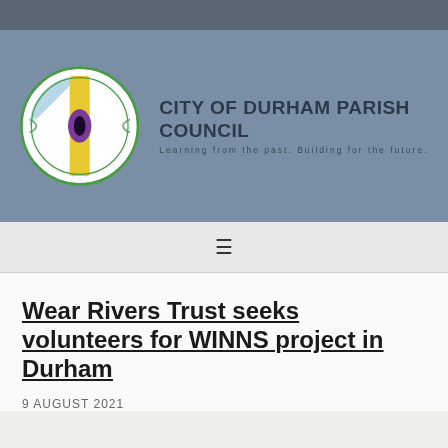[Figure (logo): City of Durham Parish Council logo with circular emblem featuring a cross design with yellow, green, light blue, and purple colors, alongside the organization name and tagline]
☰
Wear Rivers Trust seeks volunteers for WINNS project in Durham
9 AUGUST 2021